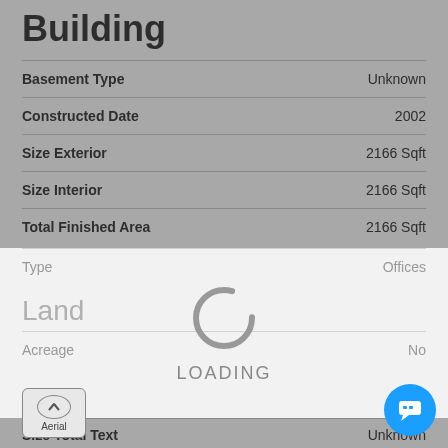Building
| Property | Value |
| --- | --- |
| Basement Type | Unknown |
| Constructed Date | 2002 |
| Size Exterior | 2166 Sqft |
| Size Interior | 2166 Sqft |
| Total Finished Area | 2166 Sqft |
| Property | Value |
| --- | --- |
| Type | Offices |
Land
| Property | Value |
| --- | --- |
| Acreage | No |
[Figure (infographic): Loading spinner overlay with circular spinner graphic and LOADING text]
| Property | Value |
| --- | --- |
| Size Total Text | Unknown |
| Zoning Description | Co |